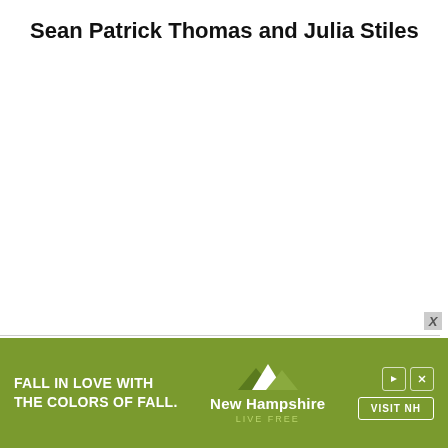Sean Patrick Thomas and Julia Stiles
[Figure (infographic): Advertisement banner for New Hampshire tourism: green background with white text 'FALL IN LOVE WITH THE COLORS OF FALL', New Hampshire mountain logo, and 'VISIT NH' button with playback/close controls.]